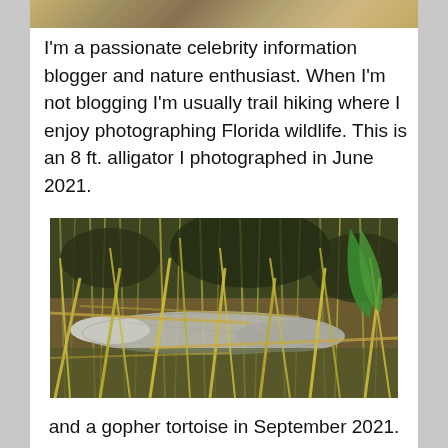[Figure (photo): Partial photo of a person at top of page, cropped]
I'm a passionate celebrity information blogger and nature enthusiast. When I'm not blogging I'm usually trail hiking where I enjoy photographing Florida wildlife. This is an 8 ft. alligator I photographed in June 2021.
[Figure (photo): Photo of an 8 ft. alligator partially hidden in grass and vegetation, photographed in June 2021 in Florida]
and a gopher tortoise in September 2021.